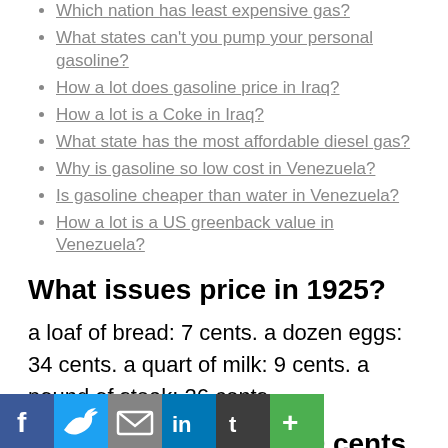Which nation has least expensive gas?
What states can't you pump your personal gasoline?
How a lot does gasoline price in Iraq?
How a lot is a Coke in Iraq?
What state has the most affordable diesel gas?
Why is gasoline so low cost in Venezuela?
Is gasoline cheaper than water in Venezuela?
How a lot is a US greenback value in Venezuela?
What issues price in 1925?
a loaf of bread: 7 cents. a dozen eggs: 34 cents. a quart of milk: 9 cents. a pound of steak: 26 cents.
When was gasoline 20 cents a g…